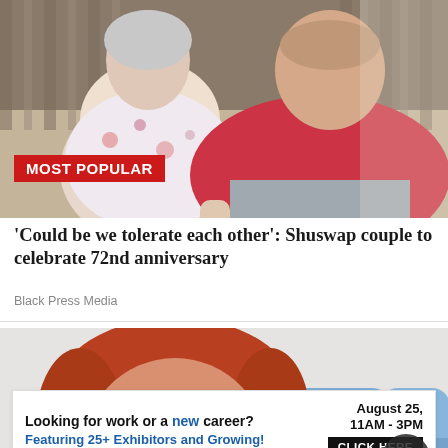[Figure (photo): Elderly couple sitting on a striped sofa. Woman in floral shirt on left, man in red shirt on right. A 'MOST POPULAR' red badge overlays the bottom-left of the image.]
'Could be we tolerate each other': Shuswap couple to celebrate 72nd anniversary
Black Press Media
[Figure (photo): Woman with short red/auburn hair smiling, seated in front of blue chairs in what appears to be a public space.]
[Figure (infographic): Advertisement banner: 'Looking for work or a new career? August 25, 11AM - 3PM. Featuring 25+ Exhibitors and Growing! CLICK HERE']